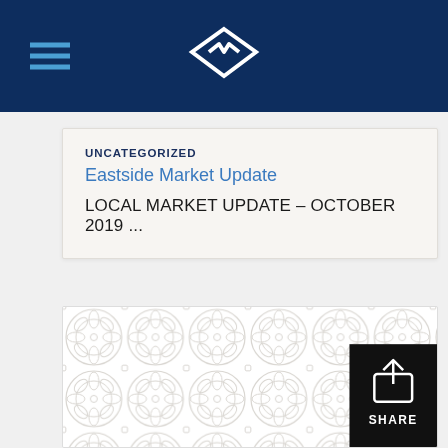Navigation bar with logo and hamburger menu
UNCATEGORIZED
Eastside Market Update
LOCAL MARKET UPDATE – OCTOBER 2019 ...
[Figure (illustration): Decorative tile/ornamental pattern background image with a black SHARE button overlay in the bottom right corner]